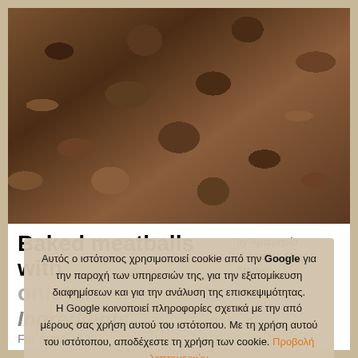[Figure (photo): Close-up photo of baked meatballs garnished with fresh parsley on a dark background]
Baked meatballs with
by Αρτεμησία
Category: Meat, Starters
Αυτός ο ιστότοπος χρησιμοποιεί cookie από την Google για την παροχή των υπηρεσιών της, για την εξατομίκευση διαφημίσεων και για την ανάλυση της επισκεψιμότητας.
Η Google κοινοποιεί πληροφορίες σχετικά με την από μέρους σας χρήση αυτού του ιστότοπου. Με τη χρήση αυτού του ιστότοπου, αποδέχεστε τη χρήση των cookie. Προβολή λεπτομεριών
Αποδοχή
Ingredients